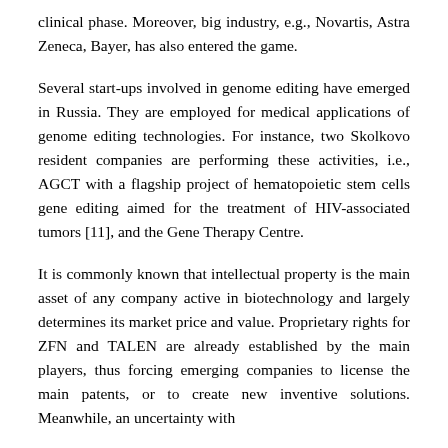clinical phase. Moreover, big industry, e.g., Novartis, Astra Zeneca, Bayer, has also entered the game.
Several start-ups involved in genome editing have emerged in Russia. They are employed for medical applications of genome editing technologies. For instance, two Skolkovo resident companies are performing these activities, i.e., AGCT with a flagship project of hematopoietic stem cells gene editing aimed for the treatment of HIV-associated tumors [11], and the Gene Therapy Centre.
It is commonly known that intellectual property is the main asset of any company active in biotechnology and largely determines its market price and value. Proprietary rights for ZFN and TALEN are already established by the main players, thus forcing emerging companies to license the main patents, or to create new inventive solutions. Meanwhile, an uncertainty with